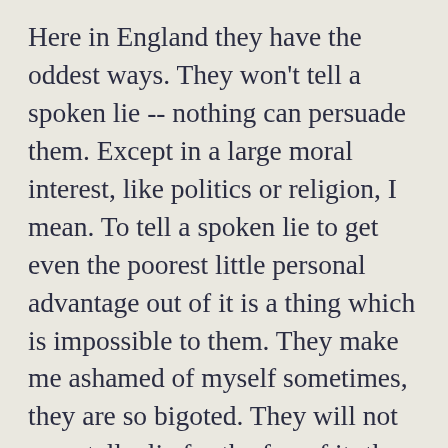Here in England they have the oddest ways. They won't tell a spoken lie -- nothing can persuade them. Except in a large moral interest, like politics or religion, I mean. To tell a spoken lie to get even the poorest little personal advantage out of it is a thing which is impossible to them. They make me ashamed of myself sometimes, they are so bigoted. They will not even tell a lie for the fun of it; they will not tell it when it hasn't even a suggestion of damage or advantage in it for any one. This has a restraining influence upon me